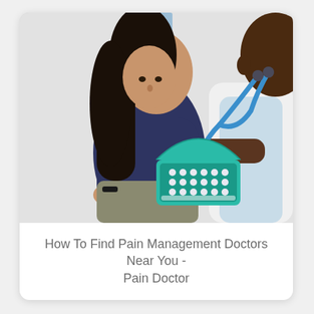[Figure (photo): A female patient sitting and looking at a teal pill organizer box being held and pointed to by a doctor in a white coat with a blue stethoscope.]
How To Find Pain Management Doctors Near You - Pain Doctor